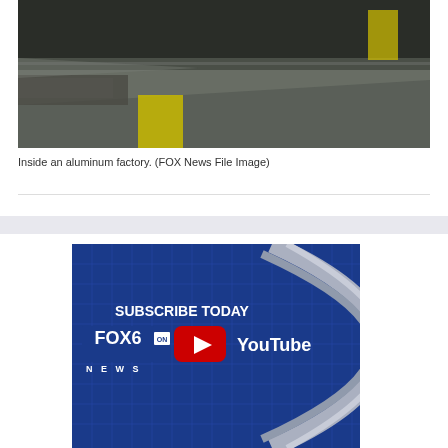[Figure (photo): Inside an aluminum factory showing metal sheets and equipment with yellow safety markings. (FOX News File Image)]
Inside an aluminum factory. (FOX News File Image)
[Figure (screenshot): FOX 6 News YouTube subscription banner with blue background, FOX6 NEWS logo, YouTube play button icon, and text 'SUBSCRIBE TODAY' and 'YouTube']